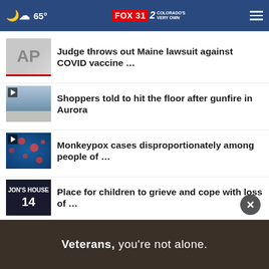65° FOX 31 2 COLORADO'S VERY OWN
Judge throws out Maine lawsuit against COVID vaccine …
Shoppers told to hit the floor after gunfire in Aurora
Monkeypox cases disproportionately among people of …
Place for children to grieve and cope with loss of …
More Stories ›
[Figure (screenshot): Advertisement banner: Veterans, you're not alone.]